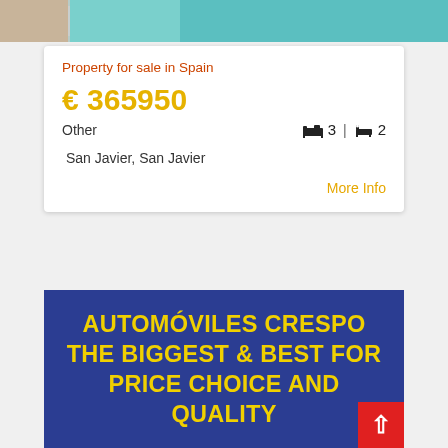[Figure (photo): Top strip showing partial view of a person and teal/turquoise background, likely a property photo]
Property for sale in Spain
€ 365950
Other
3 | 2
San Javier, San Javier
More Info
[Figure (infographic): Dark blue advertisement banner with yellow bold text reading: AUTOMÓVILES CRESPO THE BIGGEST & BEST FOR PRICE CHOICE AND QUALITY]